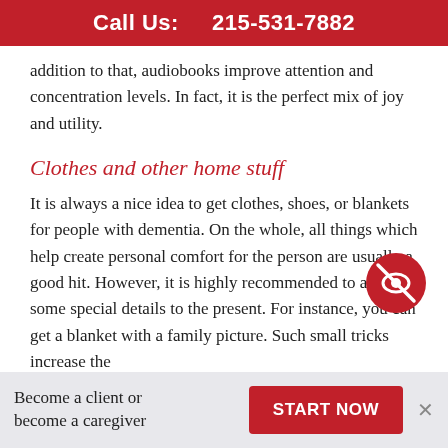Call Us:  215-531-7882
addition to that, audiobooks improve attention and concentration levels. In fact, it is the perfect mix of joy and utility.
Clothes and other home stuff
It is always a nice idea to get clothes, shoes, or blankets for people with dementia. On the whole, all things which help create personal comfort for the person are usually a good hit. However, it is highly recommended to add some special details to the present. For instance, you can get a blanket with a family picture. Such small tricks increase the
Become a client or become a caregiver
START NOW